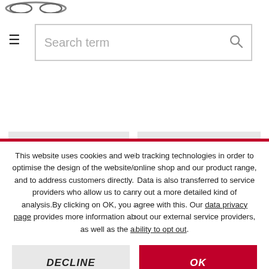[Figure (screenshot): Partial logo visible at top left of page]
[Figure (screenshot): Search bar with hamburger menu icon on the left and search icon on the right, placeholder text 'Search term']
[Figure (screenshot): Loading skeleton placeholder blocks representing product cards and text lines]
This website uses cookies and web tracking technologies in order to optimise the design of the website/online shop and our product range, and to address customers directly. Data is also transferred to service providers who allow us to carry out a more detailed kind of analysis.By clicking on OK, you agree with this. Our data privacy page provides more information about our external service providers, as well as the ability to opt out.
DECLINE
OK